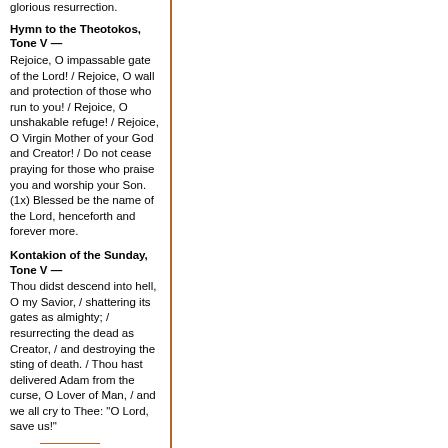glorious resurrection.
Hymn to the Theotokos, Tone V —
Rejoice, O impassable gate of the Lord! / Rejoice, O wall and protection of those who run to you! / Rejoice, O unshakable refuge! / Rejoice, O Virgin Mother of your God and Creator! / Do not cease praying for those who praise you and worship your Son. (1x) Blessed be the name of the Lord, henceforth and forever more.
Kontakion of the Sunday, Tone V —
Thou didst descend into hell, O my Savior, / shattering its gates as almighty; / resurrecting the dead as Creator, / and destroying the sting of death. / Thou hast delivered Adam from the curse, O Lover of Man, / and we all cry to Thee: "O Lord, save us!"